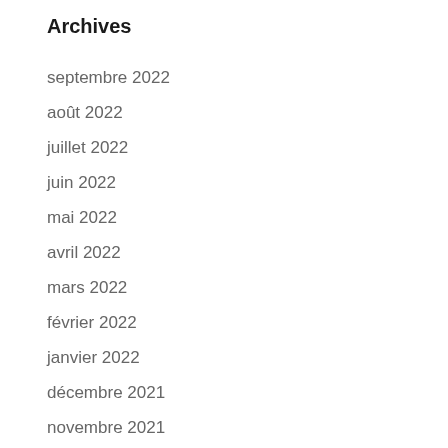Archives
septembre 2022
août 2022
juillet 2022
juin 2022
mai 2022
avril 2022
mars 2022
février 2022
janvier 2022
décembre 2021
novembre 2021
octobre 2021